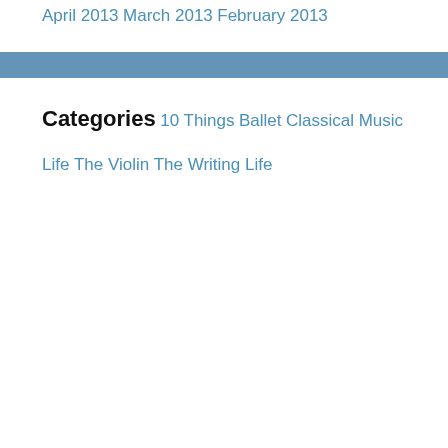April 2013
March 2013
February 2013
Categories
10 Things
Ballet
Classical Music
Life
The Violin
The Writing Life